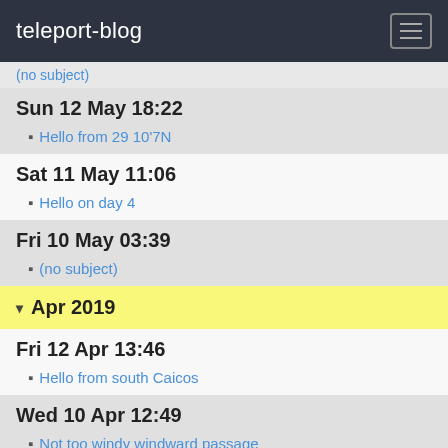teleport-blog
(no subject)
Sun 12 May 18:22
Hello from 29 10'7N
Sat 11 May 11:06
Hello on day 4
Fri 10 May 03:39
(no subject)
Apr 2019
Fri 12 Apr 13:46
Hello from south Caicos
Wed 10 Apr 12:49
Not too windy windward passage
Mar 2019
Sun 24 Mar 14:52
Almost at Santiago